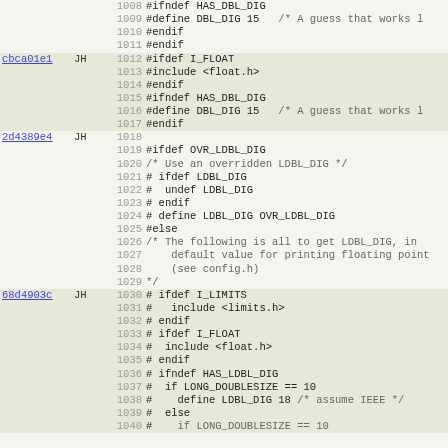Source code viewer showing lines 1008-1039 with commit annotations (cbca01e1 JH, 2d4389e4 JH, 68d4903c JH). Code contains C preprocessor directives for DBL_DIG, LDBL_DIG, float.h, limits.h includes and conditional compilation.